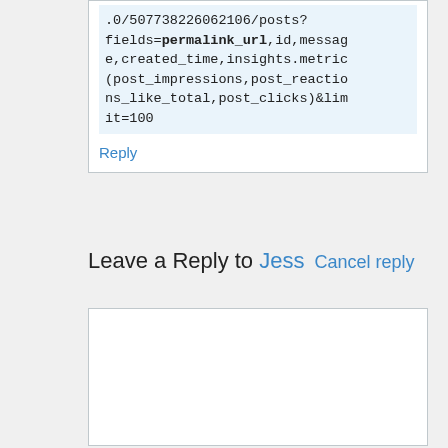.0/507738226062106/posts?fields=permalink_url,id,message,created_time,insights.metric(post_impressions,post_reactions_like_total,post_clicks)&limit=100
Reply
Leave a Reply to Jess Cancel reply
[Figure (other): Empty textarea/comment input box]